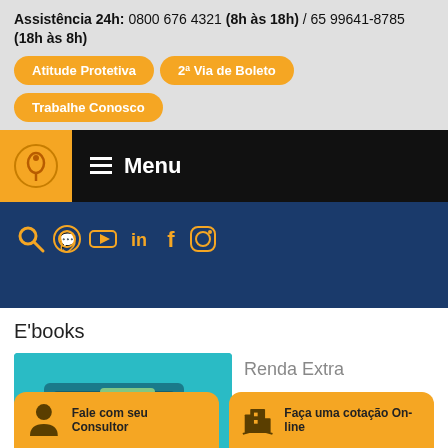Assistência 24h: 0800 676 4321 (8h às 18h) / 65 99641-8785 (18h às 8h)
Atitude Protetiva
2ª Via de Boleto
Trabalhe Conosco
[Figure (logo): Company logo on orange background in navigation bar]
≡ Menu
[Figure (other): Social media icons row: search, WhatsApp, YouTube, LinkedIn, Facebook, Instagram]
E'books
[Figure (illustration): E-book cover illustration showing a hand holding cash money with an upward arrow on teal/blue background]
Renda Extra
Fale com seu Consultor
Faça uma cotação On-line